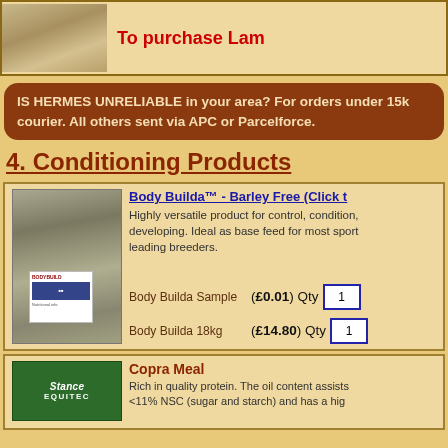[Figure (photo): Top banner with animal image on left and red text 'To purchase Lam...' on right]
IS HERMES UNRELIABLE in your area? For orders under 15k courier. All others sent via APC or Parcelforce.
4. Conditioning Products
[Figure (photo): Body Builda product bag - large grey/beige grain bag with label]
Body Builda™ - Barley Free (Click t...
Highly versatile product for control, condition, developing. Ideal as base feed for most sport leading breeders.
Body Builda Sample (£0.01) Qty 1
Body Builda 18kg (£14.80) Qty 1
[Figure (photo): Stance Equitec Copra Meal green bag]
Copra Meal
Rich in quality protein. The oil content assists <11% NSC (sugar and starch) and has a hig...